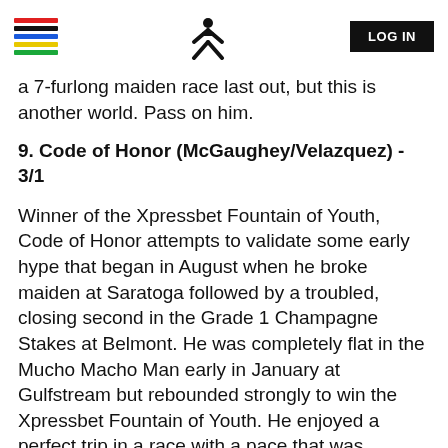Xpressbet logo | X logo | LOG IN
a 7-furlong maiden race last out, but this is another world. Pass on him.
9. Code of Honor (McGaughey/Velazquez) - 3/1
Winner of the Xpressbet Fountain of Youth, Code of Honor attempts to validate some early hype that began in August when he broke maiden at Saratoga followed by a troubled, closing second in the Grade 1 Champagne Stakes at Belmont. He was completely flat in the Mucho Macho Man early in January at Gulfstream but rebounded strongly to win the Xpressbet Fountain of Youth. He enjoyed a perfect trip in a race with a pace that was suitable to his closing style. He's worked well since and Hall of Fame trainer Shug McGaughey's pre-race comments regarding the colt have been extremely